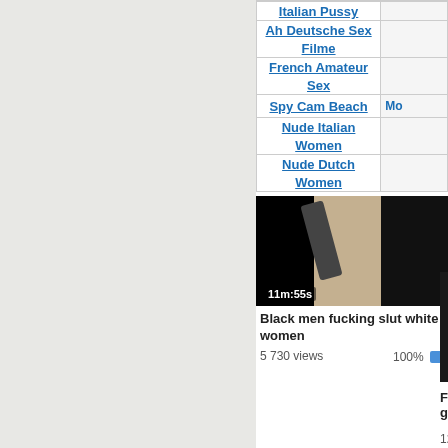Italian Pussy
Ah Deutsche Sex Filme
French Amateur Sex
Spy Cam Beach
Nude Italian Women
Nude Dutch Women
[Figure (screenshot): Video thumbnail showing partial video image with timestamp 11m:55s]
Black men fucking slut white women
5 730 views
100%
[Figure (screenshot): Partial video thumbnail with timestamp 5m:2x]